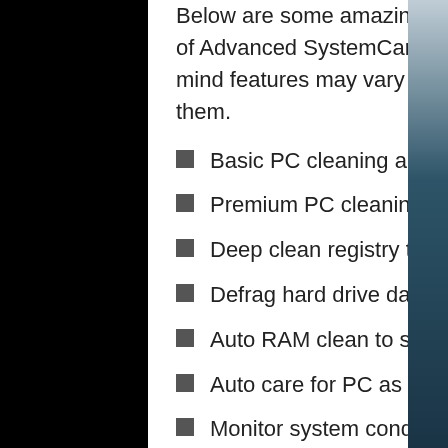Below are some amazing features you can experience after installation of Advanced SystemCare Pro 13.5.0.274 Free Download please keep in mind features may vary and totally depends if your system supports them.
Basic PC cleaning and optimization
Premium PC cleaning and optimization
Deep clean registry to prevent system crash
Defrag hard drive data to optimize PC performance
Auto RAM clean to stop unused programs and processes
Auto care for PC as scheduled
Monitor system condition in real-time
1-click to keep important programs up-to-date
Boost PC Speed
Up to 200% quicker PC startup